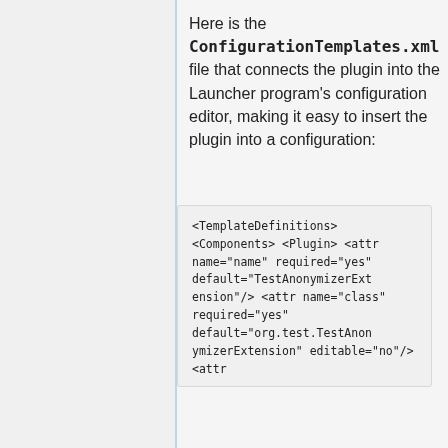Here is the ConfigurationTemplates.xml file that connects the plugin into the Launcher program's configuration editor, making it easy to insert the plugin into a configuration:
<TemplateDefinitions>
        <Components>
            <Plugin>
                <attr name="name" required="yes" default="TestAnonymizerExtension"/>
                <attr name="class" required="yes" default="org.test.TestAnonymizerExtension" editable="no"/>
                <attr